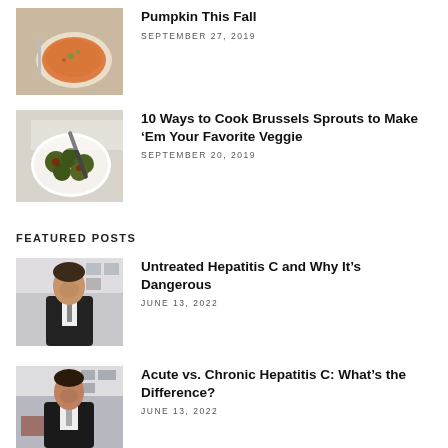[Figure (photo): Plate of pumpkin pasta dish]
Pumpkin This Fall
SEPTEMBER 27, 2019
[Figure (photo): Brussels sprouts in a bowl with a fork]
10 Ways to Cook Brussels Sprouts to Make ‘Em Your Favorite Veggie
SEPTEMBER 20, 2019
FEATURED POSTS
[Figure (photo): Man in suit standing in office]
Untreated Hepatitis C and Why It’s Dangerous
JUNE 13, 2022
[Figure (photo): Man in suit standing in office]
Acute vs. Chronic Hepatitis C: What’s the Difference?
JUNE 13, 2022